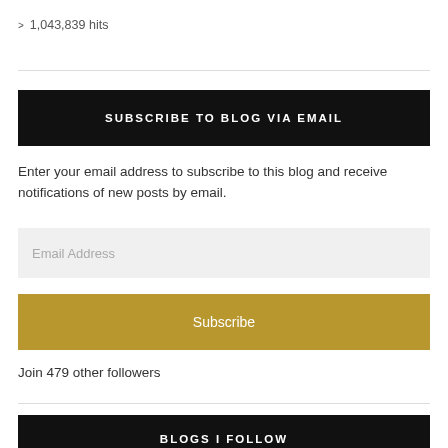> 1,043,839 hits
SUBSCRIBE TO BLOG VIA EMAIL
Enter your email address to subscribe to this blog and receive notifications of new posts by email.
Email Address
Subscribe
Join 479 other followers
BLOGS I FOLLOW